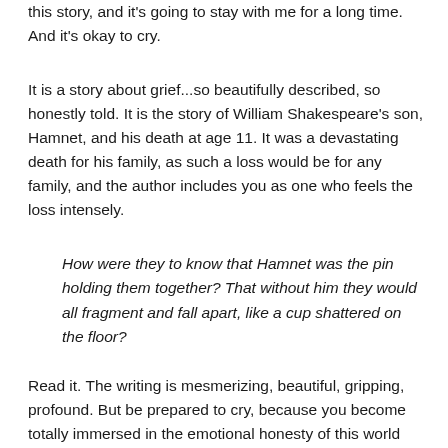this story, and it's going to stay with me for a long time. And it's okay to cry.
It is a story about grief...so beautifully described, so honestly told. It is the story of William Shakespeare's son, Hamnet, and his death at age 11. It was a devastating death for his family, as such a loss would be for any family, and the author includes you as one who feels the loss intensely.
How were they to know that Hamnet was the pin holding them together? That without him they would all fragment and fall apart, like a cup shattered on the floor?
Read it. The writing is mesmerizing, beautiful, gripping, profound. But be prepared to cry, because you become totally immersed in the emotional honesty of this world